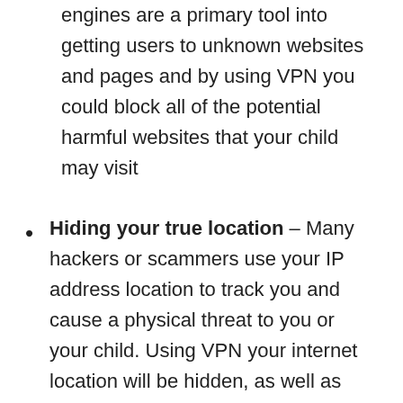engines are a primary tool into getting users to unknown websites and pages and by using VPN you could block all of the potential harmful websites that your child may visit
Hiding your true location – Many hackers or scammers use your IP address location to track you and cause a physical threat to you or your child. Using VPN your internet location will be hidden, as well as your real IP address and every online activity will remain undetected and safe from any potential malicious intent or attack
Inappropriate website block – There are over